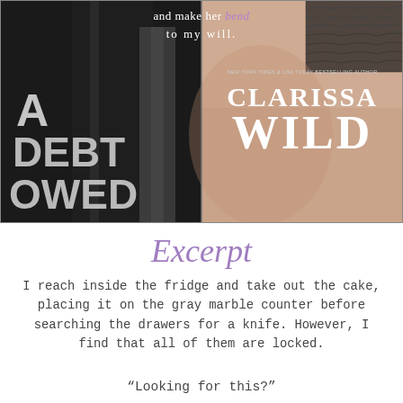[Figure (illustration): Book cover for 'A Debt Owed' by Clarissa Wild. Left half shows a dark suit with distressed white block letters 'A DEBT OWED'. Right half shows a woman's torso with black lace lingerie. Tagline at top reads 'and make her bend to my will.' Author name 'CLARISSA WILD' appears on the right with 'NEW YORK TIMES & USA TODAY BESTSELLING AUTHOR' above it.]
Excerpt
I reach inside the fridge and take out the cake, placing it on the gray marble counter before searching the drawers for a knife. However, I find that all of them are locked.
“Looking for this?”